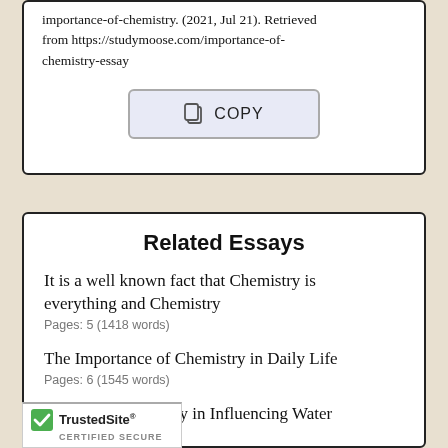importance-of-chemistry. (2021, Jul 21). Retrieved from https://studymoose.com/importance-of-chemistry-essay
[Figure (other): A button labeled COPY with a copy/paste icon]
Related Essays
It is a well known fact that Chemistry is everything and Chemistry
Pages: 5 (1418 words)
The Importance of Chemistry in Daily Life
Pages: 6 (1545 words)
The Role of Geology in Influencing Water
try
(3509 words)
[Figure (logo): TrustedSite Certified Secure badge with green checkmark]